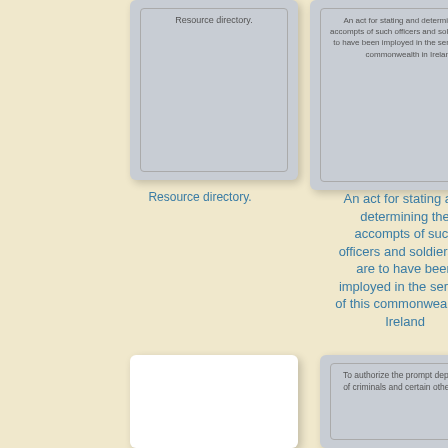[Figure (illustration): Gray card with inner border containing text 'Resource directory.' at top]
[Figure (illustration): Gray card with inner border containing centered text about an act for stating and determining the accompts of officers and soldiers in Ireland]
Resource directory.
An act for stating and determining the accompts of such officers and soldiers as are to have been imployed in the service of this commonwealth in Ireland
[Figure (illustration): White card (blank)]
[Figure (illustration): Gray card with inner border containing text 'To authorize the prompt deportation of criminals and certain other aliens']